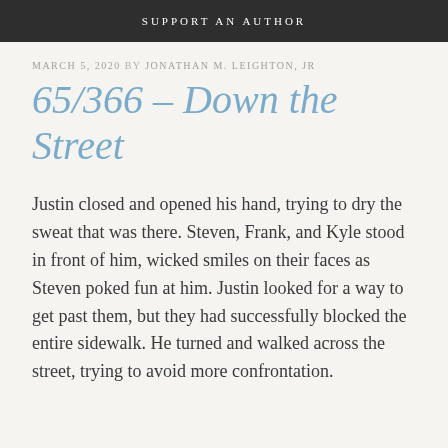SUPPORT AN AUTHOR
MARCH 5, 2020 BY JONATHAN M. LEIGHTON, JR
65/366 – Down the Street
Justin closed and opened his hand, trying to dry the sweat that was there. Steven, Frank, and Kyle stood in front of him, wicked smiles on their faces as Steven poked fun at him. Justin looked for a way to get past them, but they had successfully blocked the entire sidewalk. He turned and walked across the street, trying to avoid more confrontation.